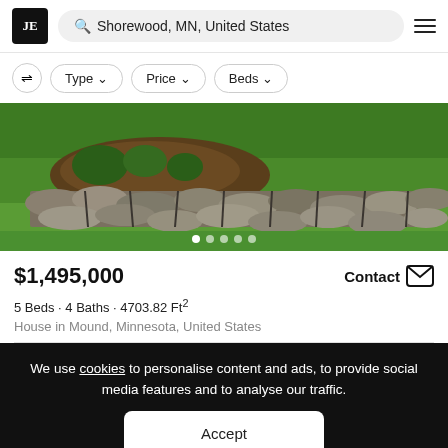JE  Q Shorewood, MN, United States
Type  Price  Beds
[Figure (photo): Outdoor landscape photo showing a stone rock wall retaining bed with green lawn and shrubs]
$1,495,000   Contact
5 Beds · 4 Baths · 4703.82 Ft²
House in Mound, Minnesota, United States
We use cookies to personalise content and ads, to provide social media features and to analyse our traffic.
Accept